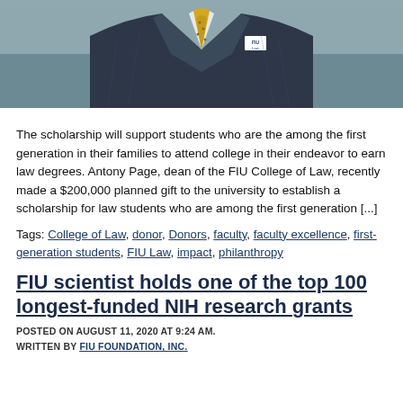[Figure (photo): Photo of a man in a dark pinstripe suit with a yellow patterned tie and an FIU Law lapel pin, cropped to show chest and lower face only.]
The scholarship will support students who are the among the first generation in their families to attend college in their endeavor to earn law degrees. Antony Page, dean of the FIU College of Law, recently made a $200,000 planned gift to the university to establish a scholarship for law students who are among the first generation [...]
Tags: College of Law, donor, Donors, faculty, faculty excellence, first-generation students, FIU Law, impact, philanthropy
FIU scientist holds one of the top 100 longest-funded NIH research grants
POSTED ON AUGUST 11, 2020 AT 9:24 AM.
WRITTEN BY FIU FOUNDATION, INC.